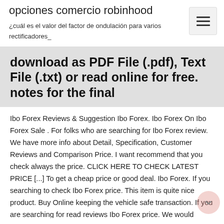opciones comercio robinhood
¿cuál es el valor del factor de ondulación para varios rectificadores_
download as PDF File (.pdf), Text File (.txt) or read online for free. notes for the final
Ibo Forex Reviews & Suggestion Ibo Forex. Ibo Forex On Ibo Forex Sale . For folks who are searching for Ibo Forex review. We have more info about Detail, Specification, Customer Reviews and Comparison Price. I want recommend that you check always the price. CLICK HERE TO CHECK LATEST PRICE [...] To get a cheap price or good deal. Ibo Forex. If you searching to check Ibo Forex price. This item is quite nice product. Buy Online keeping the vehicle safe transaction. If you are searching for read reviews Ibo Forex price. We would recommend this store